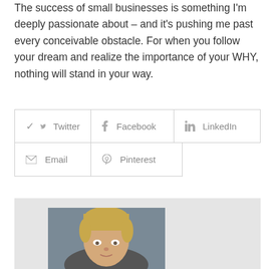The success of small businesses is something I'm deeply passionate about – and it's pushing me past every conceivable obstacle. For when you follow your dream and realize the importance of your WHY, nothing will stand in your way.
[Figure (other): Social sharing buttons: Twitter, Facebook, LinkedIn (top row), Email, Pinterest (bottom row). Each button has a light gray border, an icon on the left, and the platform name in gray text.]
[Figure (photo): A profile photo of a woman with short blonde hair, photographed against a gray-blue background. Only her face and top of shoulders are visible (cropped).]